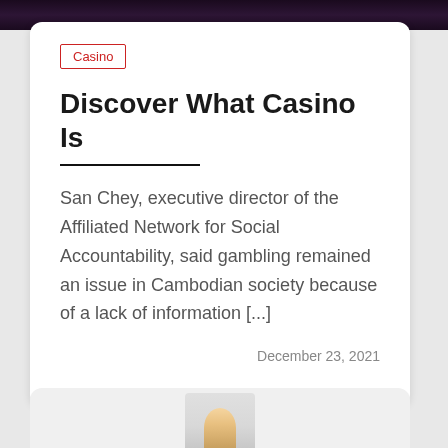[Figure (photo): Dark banner image at top of page, appears to be a casino or gaming-related scene with dark purple/black tones]
Casino
Discover What Casino Is
San Chey, executive director of the Affiliated Network for Social Accountability, said gambling remained an issue in Cambodian society because of a lack of information [...]
December 23, 2021
[Figure (photo): Bottom card showing partial image of a person, appears to be a man in a suit, gray background]